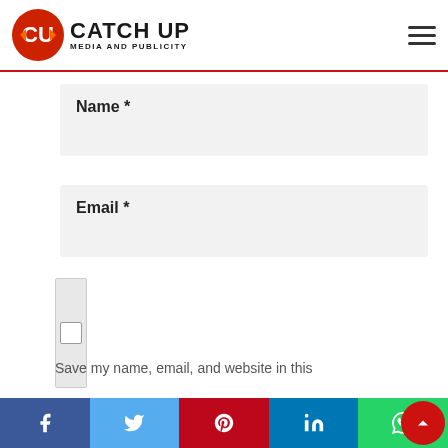Catch Up Media and Publicity
Name *
Email *
Save my name, email, and website in this
We use cookies on our website to give you the most relevant experience by remembering your preferences and repeat visits. By clicking “Accept”, you consent to the use of ALL the cookies.
Do not sell my personal information.
Cookie settings
ACCEPT
REJECT